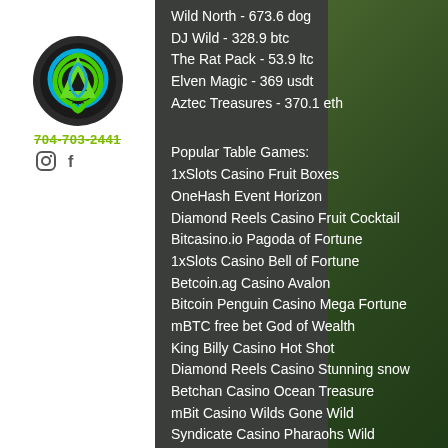[Figure (logo): Celtic trinity knot logo in green and blue on dark circular background]
704-703-2441
Wild North - 673.6 dog
DJ Wild - 328.9 btc
The Rat Pack - 53.9 ltc
Elven Magic - 369 usdt
Aztec Treasures - 370.1 eth
Popular Table Games:
1xSlots Casino Fruit Boxes
OneHash Event Horizon
Diamond Reels Casino Fruit Cocktail
Bitcasino.io Pagoda of Fortune
1xSlots Casino Bell of Fortune
Betcoin.ag Casino Avalon
Bitcoin Penguin Casino Mega Fortune
mBTC free bet God of Wealth
King Billy Casino Hot Shot
Diamond Reels Casino Stunning snow
Betchan Casino Ocean Treasure
mBit Casino Wilds Gone Wild
Syndicate Casino Pharaohs Wild
Betcoin.ag Casino Safari Sam